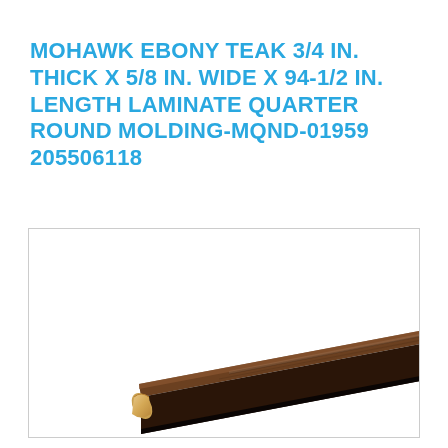MOHAWK EBONY TEAK 3/4 IN. THICK X 5/8 IN. WIDE X 94-1/2 IN. LENGTH LAMINATE QUARTER ROUND MOLDING-MQND-01959 205506118
[Figure (photo): A dark brown quarter round laminate molding piece photographed diagonally, showing the curved top surface and a light wood-colored cut end at the bottom left. The molding is dark ebony teak colored.]